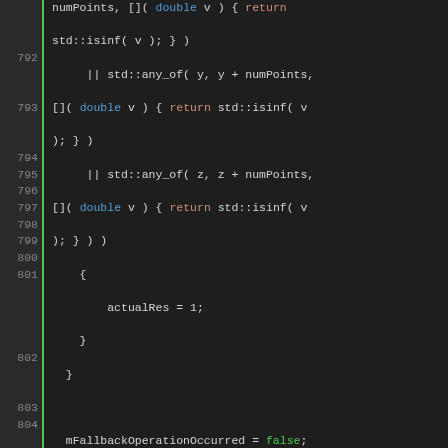[Figure (screenshot): Source code editor screenshot showing C++ code lines 792-809 with syntax highlighting. Dark background IDE with green line number gutter. Code involves coordinate transformation fallback operations using std::any_of, isinf, mFallbackOperationOccurred, and proj transformation functions.]